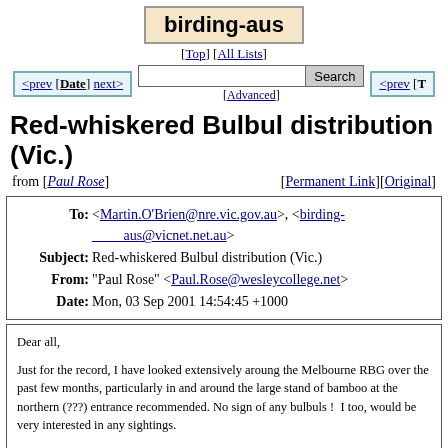birding-aus
[Top] [All Lists]
<prev [Date] next>    Search    [Advanced]    <prev [T
Red-whiskered Bulbul distribution (Vic.)
from [Paul Rose]    [Permanent Link][Original]
| To: | <Martin.O'Brien@nre.vic.gov.au>, <birding-aus@vicnet.net.au> |
| Subject: | Red-whiskered Bulbul distribution (Vic.) |
| From: | "Paul Rose" <Paul.Rose@wesleycollege.net> |
| Date: | Mon, 03 Sep 2001 14:54:45 +1000 |
Dear all,

Just for the record, I have looked extensively aroung the Melbourne RBG over the past few months, particularly in and around the large stand of bamboo at the northern (???) entrance recommended. No sign of any bulbuls !  I too, would be very interested in any sightings.

Regards,

Paul